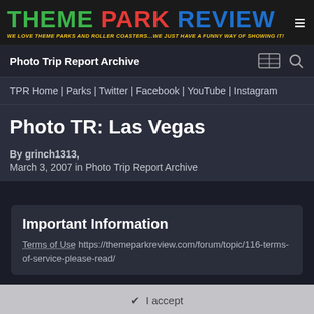THEME PARK REVIEW - WE LOVE THEME PARKS AND ROLLER COASTERS...WE JUST HAVE A FUNNY WAY OF SHOWING IT!
Photo Trip Report Archive
TPR Home | Parks | Twitter | Facebook | YouTube | Instagram
Photo TR: Las Vegas
By grinch1313, March 3, 2007 in Photo Trip Report Archive
Important Information
Terms of Use https://themeparkreview.com/forum/topic/116-terms-of-service-please-read/
✔ I accept